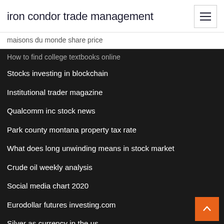iron condor trade management
maisons du monde share price
How to find college textbooks online
Stocks investing in blockchain
Institutional trader magazine
Qualcomm inc stock news
Park county montana property tax rate
What does long unwinding means in stock market
Crude oil weekly analysis
Social media chart 2020
Eurodollar futures investing.com
Silver as currency in the us
State income tax rates ranked 2020